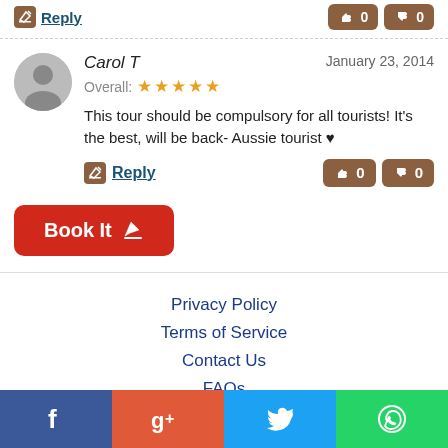[Figure (screenshot): Top reply bar with pencil/Reply link and thumbs up/down vote buttons showing 0]
Carol T
January 23, 2014
Overall: ★★★★★
This tour should be compulsory for all tourists! It's the best, will be back- Aussie tourist ♥
Reply
Book It
Privacy Policy
Terms of Service
Contact Us
FAQs
helicopter tours
[Figure (infographic): Social media bar with Facebook, Google+, Twitter, WhatsApp icons]